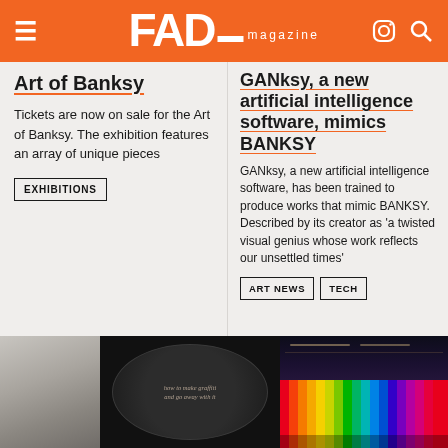FAD magazine
Art of Banksy
Tickets are now on sale for the Art of Banksy. The exhibition features an array of unique pieces
EXHIBITIONS
GANksy, a new artificial intelligence software, mimics BANKSY
GANksy, a new artificial intelligence software, has been trained to produce works that mimic BANKSY. Described by its creator as 'a twisted visual genius whose work reflects our unsettled times'
ART NEWS
TECH
[Figure (photo): Two panel image: left panel shows a grey minimalist surface, right panel shows a dark circular design with small handwritten text]
[Figure (photo): Interior corridor with colorful rainbow hanging installation and ceiling lights]